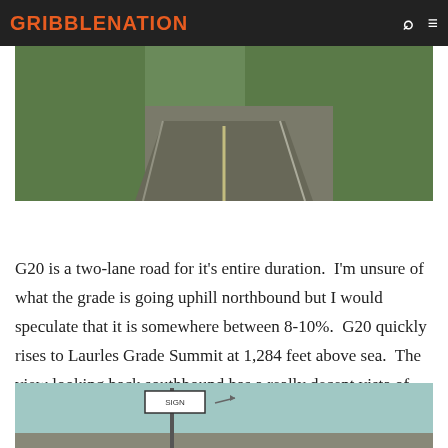GRIBBLENATION
[Figure (photo): A two-lane road with a yellow center line, flanked by green grass on the right side, photographed from a low angle looking ahead.]
G20 is a two-lane road for it's entire duration.  I'm unsure of what the grade is going uphill northbound but I would speculate that it is somewhere between 8-10%.  G20 quickly rises to Laurles Grade Summit at 1,284 feet above sea.  The view looking back southbound has a really decent vista of Carmel Valley and the Santa Lucia Range in Big Sur.
[Figure (photo): Partial view of a road sign on a post, with a light blue/teal sky background.]